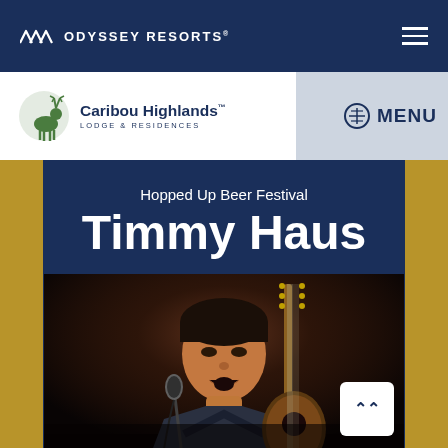ODYSSEY RESORTS
[Figure (logo): Caribou Highlands Lodge & Residences logo with caribou icon]
MENU
Hopped Up Beer Festival
Timmy Haus
[Figure (photo): Man playing guitar and singing into microphone on stage, performing at Hopped Up Beer Festival]